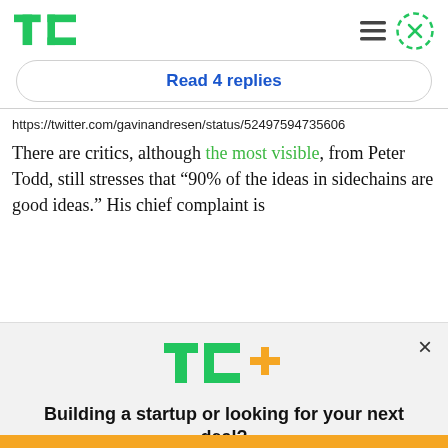TechCrunch logo, hamburger menu, close button
Read 4 replies
https://twitter.com/gavinandresen/status/52497594735606
There are critics, although the most visible, from Peter Todd, still stresses that “90% of the ideas in sidechains are good ideas.” His chief complaint is
[Figure (logo): TC+ logo with TechCrunch T and C in green and plus sign in orange/yellow]
Building a startup or looking for your next deal?
We have you covered.
EXPLORE NOW